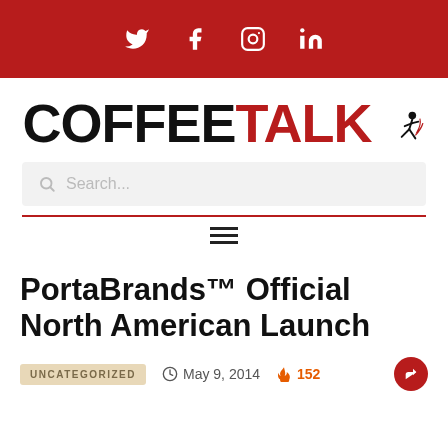Social media icons: Twitter, Facebook, Instagram, LinkedIn
[Figure (logo): CoffeeTalk logo in black and red bold text with stylized running figure graphic]
[Figure (screenshot): Search bar with placeholder text 'Search...']
PortaBrands™ Official North American Launch
UNCATEGORIZED   May 9, 2014   152